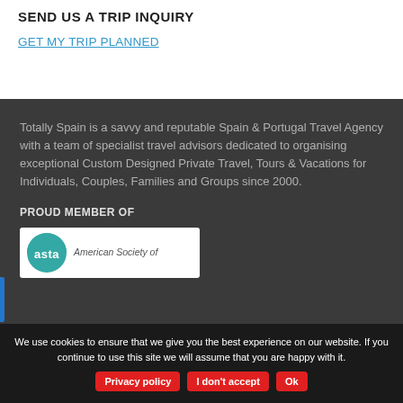SEND US A TRIP INQUIRY
GET MY TRIP PLANNED
Totally Spain is a savvy and reputable Spain & Portugal Travel Agency with a team of specialist travel advisors dedicated to organising exceptional Custom Designed Private Travel, Tours & Vacations for Individuals, Couples, Families and Groups since 2000.
PROUD MEMBER OF
[Figure (logo): ASTA - American Society of Travel Advisors logo with teal semicircle and white ASTA lettering]
We use cookies to ensure that we give you the best experience on our website. If you continue to use this site we will assume that you are happy with it.